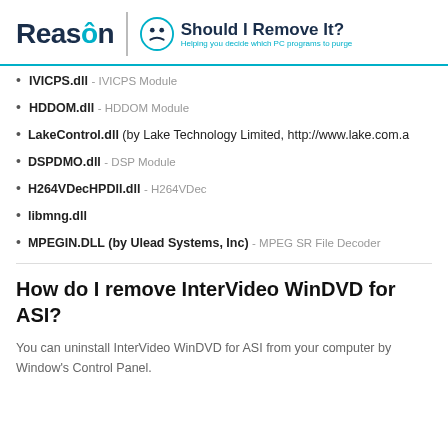Reason | Should I Remove It? Helping you decide which PC programs to purge
IVICPS.dll - IVICPS Module
HDDOM.dll - HDDOM Module
LakeControl.dll (by Lake Technology Limited, http://www.lake.com.a
DSPDMO.dll - DSP Module
H264VDecHPDll.dll - H264VDec
libmng.dll
MPEGIN.DLL (by Ulead Systems, Inc) - MPEG SR File Decoder
How do I remove InterVideo WinDVD for ASI?
You can uninstall InterVideo WinDVD for ASI from your computer by Window's Control Panel.